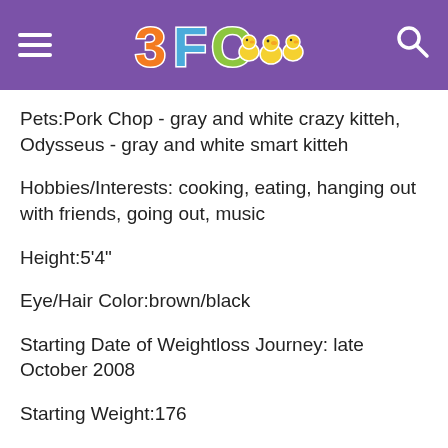3FC [logo with chicks]
Pets:Pork Chop - gray and white crazy kitteh, Odysseus - gray and white smart kitteh
Hobbies/Interests: cooking, eating, hanging out with friends, going out, music
Height:5'4"
Eye/Hair Color:brown/black
Starting Date of Weightloss Journey: late October 2008
Starting Weight:176
Present Weight:161.5